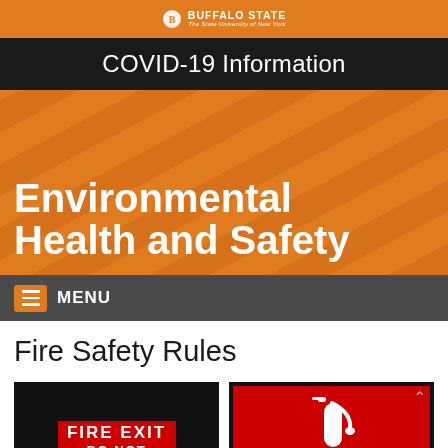BUFFALO STATE
The State University of New York
COVID-19 Information
Environmental Health and Safety
MENU
Fire Safety Rules
[Figure (photo): Fire exit sign with red and white text reading FIRE EXIT DO NOT on black background]
[Figure (photo): Fire extinguisher icon/sign on red background]